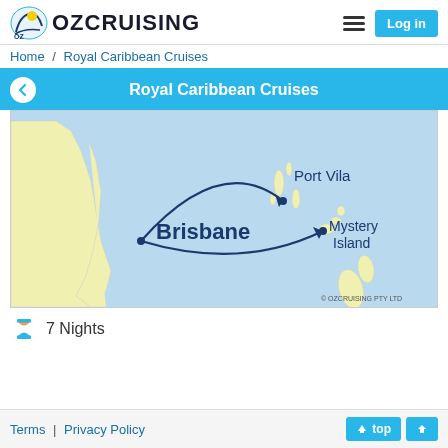OZCRUISING — Log in
Home / Royal Caribbean Cruises
Royal Caribbean Cruises
[Figure (map): Cruise route map showing Brisbane (Australia east coast) connected by curved navy blue arrows to Port Vila and Mystery Island (Vanuatu islands). Light blue ocean background with yellow-green land masses. Copyright OZCRUISING PTY LTD.]
7 Nights
Terms | Privacy Policy     ↑ top 🏠